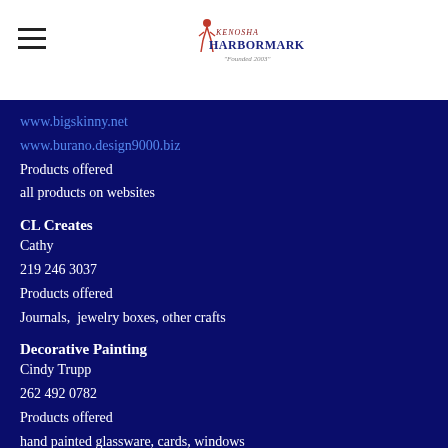Kenosha Harbor Market — Founded 2003
www.bigskinny.net
www.burano.design9000.biz
Products offered
all products on websites
CL Creates
Cathy
219 246 3037
Products offered
Journals,  jewelry boxes, other crafts
Decorative Painting
Cindy Trupp
262 492 0782
Products offered
hand painted glassware, cards, windows